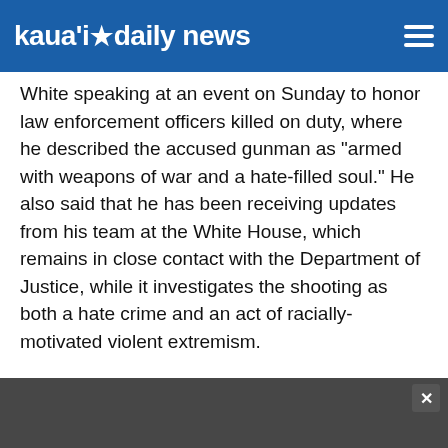kaua'i daily news
White speaking at an event on Sunday to honor law enforcement officers killed on duty, where he described the accused gunman as “armed with weapons of war and a hate-filled soul.” He also said that he has been receiving updates from his team at the White House, which remains in close contact with the Department of Justice, while it investigates the shooting as both a hate crime and an act of racially-motivated violent extremism.
“As they do, we must all work together to address the hate that remains a stain on the soul of America,” Biden said. “Our hearts are heavy once again, but the resolve must never, ever waver.”
During a previously scheduled Medal of Valor ceremony at the White House on Monday, Biden also paid tribute to retired Buffalo Police Department officer Aaron Salter, the security